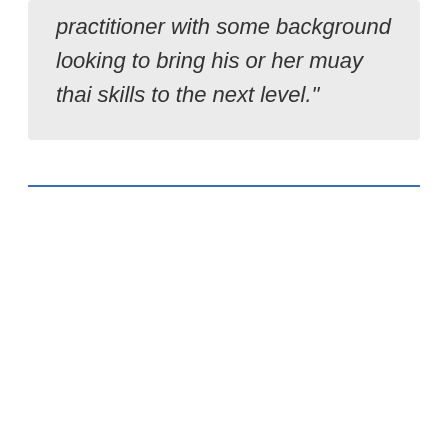practitioner with some background looking to bring his or her muay thai skills to the next level."